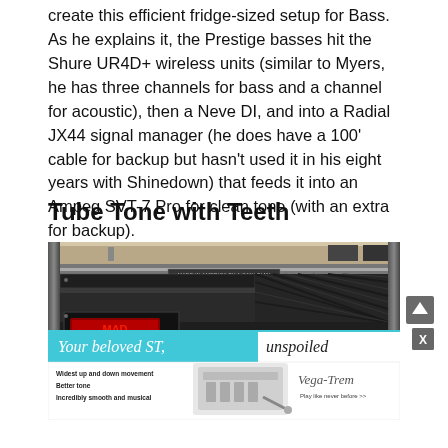create this efficient fridge-sized setup for Bass. As he explains it, the Prestige basses hit the Shure UR4D+ wireless units (similar to Myers, he has three channels for bass and a channel for acoustic), then a Neve DI, and into a Radial JX44 signal manager (he does have a 100' cable for backup but hasn't used it in his eight years with Shinedown) that feeds it into an Ampeg SVT-7 Pro for clean tone (with an extra for backup).
Tube Tone with Teeth
[Figure (photo): Photo of a rack-mounted bass amplifier setup showing the front panel of rack equipment including a Mad Tone unit with red LED display, and a sticker reading 'MADE IN AMERICA BY A CANADIAN'. An advertisement overlay appears at the bottom for Vega-Trem, showing a guitar bridge with text 'Your beloved ST, unspoiled' with features listed: Widest up and down movement, Better tone, Incredibly smooth and musical, with Vega-Trem logo and 'Play like never before >>'.]